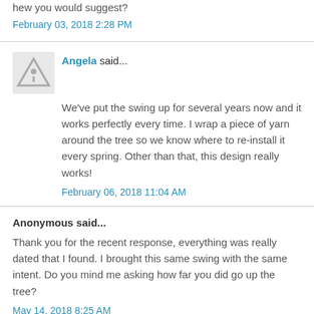hew you would suggest?
February 03, 2018 2:28 PM
Angela said...
We've put the swing up for several years now and it works perfectly every time. I wrap a piece of yarn around the tree so we know where to re-install it every spring. Other than that, this design really works!
February 06, 2018 11:04 AM
Anonymous said...
Thank you for the recent response, everything was really dated that I found. I brought this same swing with the same intent. Do you mind me asking how far you did go up the tree?
May 14, 2018 8:25 AM
Angela said...